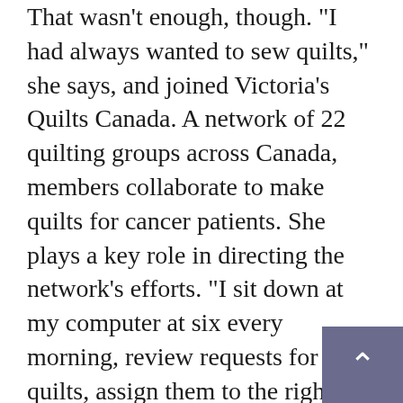That wasn't enough, though. "I had always wanted to sew quilts," she says, and joined Victoria's Quilts Canada. A network of 22 quilting groups across Canada, members collaborate to make quilts for cancer patients. She plays a key role in directing the network's efforts. "I sit down at my computer at six every morning, review requests for quilts, assign them to the right group of quilters and ensure the orders are fulfilled." Judy also sews quilts herself. "It takes about three months to make a quilt. I once sewed a quilt by hand. It took me three years. Never again!"
Judy is also a Governor with the Corps of Commissionaires of Canada, which employ thousands of Veterans across Canada